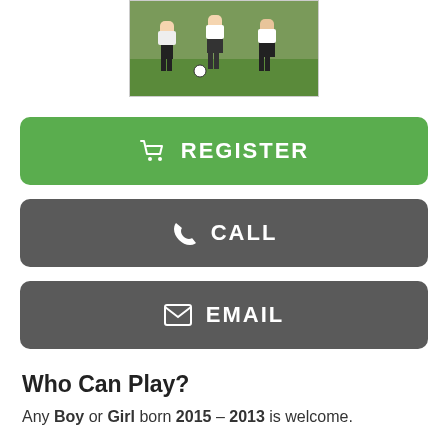[Figure (photo): Photo of youth soccer players running on a grass field, wearing black and white uniforms]
REGISTER
CALL
EMAIL
Who Can Play?
Any Boy or Girl born 2015 – 2013 is welcome.